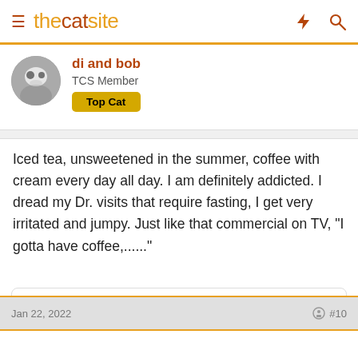thecatsite
di and bob
TCS Member
Top Cat
Iced tea, unsweetened in the summer, coffee with cream every day all day. I am definitely addicted. I dread my Dr. visits that require fasting, I get very irritated and jumpy. Just like that commercial on TV, "I gotta have coffee,......"
susanm9006
Jan 22, 2022   #10